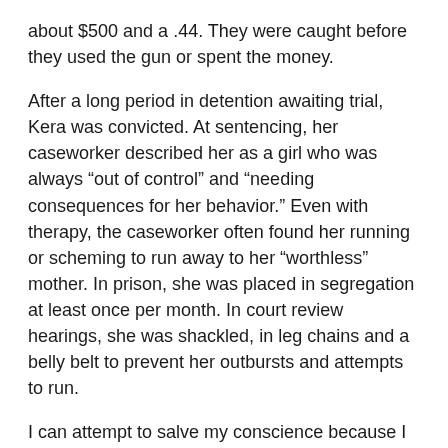about $500 and a .44. They were caught before they used the gun or spent the money.
After a long period in detention awaiting trial, Kera was convicted. At sentencing, her caseworker described her as a girl who was always “out of control” and “needing consequences for her behavior.” Even with therapy, the caseworker often found her running or scheming to run away to her “worthless” mother. In prison, she was placed in segregation at least once per month. In court review hearings, she was shackled, in leg chains and a belly belt to prevent her outbursts and attempts to run.
I can attempt to salve my conscience because I did not know about brain development or trauma-informed practice. But it doesn't work — acknowledging my ignorance and failures of the justice system cannot repair the harm done.